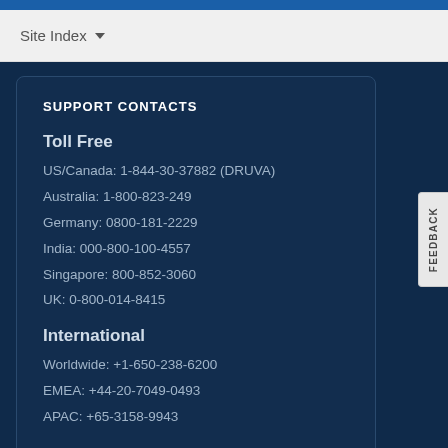Site Index ▼
SUPPORT CONTACTS
Toll Free
US/Canada: 1-844-30-37882 (DRUVA)
Australia: 1-800-823-249
Germany: 0800-181-2229
India: 000-800-100-4557
Singapore: 800-852-3060
UK: 0-800-014-8415
International
Worldwide: +1-650-238-6200
EMEA: +44-20-7049-0493
APAC: +65-3158-9943